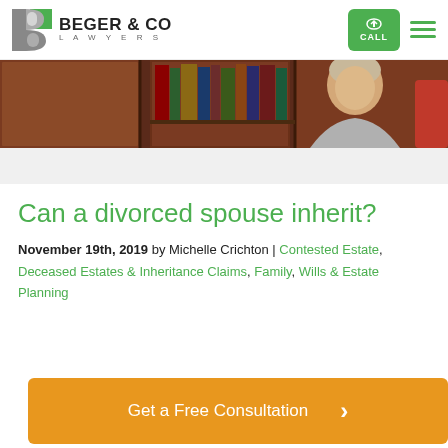[Figure (logo): Beger & Co Lawyers logo with stylized B icon and firm name]
[Figure (photo): Photo of a woman (Michelle Crichton) in front of wooden bookshelves with law books]
Can a divorced spouse inherit?
November 19th, 2019 by Michelle Crichton | Contested Estate, Deceased Estates & Inheritance Claims, Family, Wills & Estate Planning
[Figure (other): Get a Free Consultation orange call-to-action button]